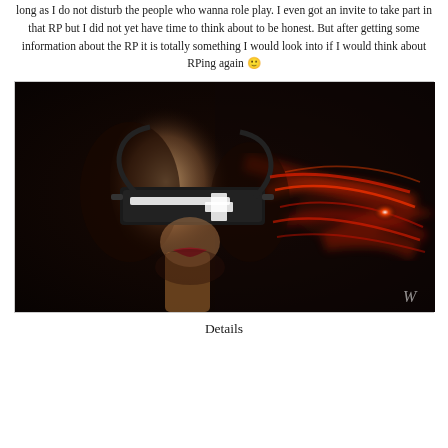long as I do not disturb the people who wanna role play. I even got an invite to take part in that RP but I did not yet have time to think about to be honest. But after getting some information about the RP it is totally something I would look into if I would think about RPing again 🙂
[Figure (illustration): A digital illustration of a futuristic female figure with a dark visor/blindfold covering her eyes, featuring a white cross symbol on it. The background is dark with glowing red swirling light streaks on the right side. A watermark 'W' is visible in the bottom right corner.]
Details